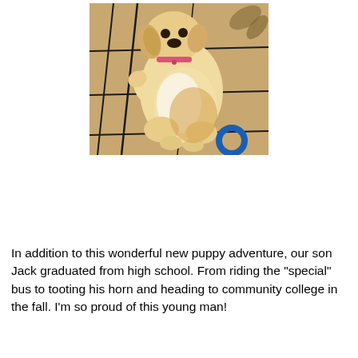[Figure (photo): A golden retriever puppy sitting upright on a patterned carpet, raising one paw, with a blue ring toy visible at the bottom right.]
In addition to this wonderful new puppy adventure, our son Jack graduated from high school. From riding the "special" bus to tooting his horn and heading to community college in the fall. I'm so proud of this young man!